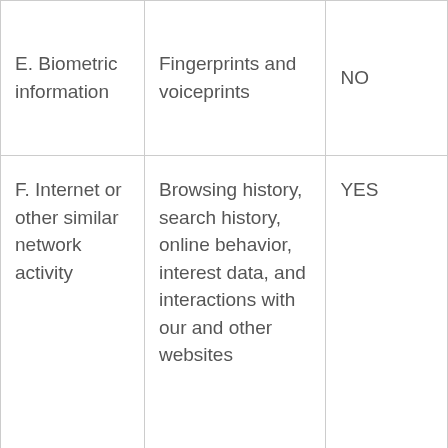| Category | Examples | Collected |
| --- | --- | --- |
| E. Biometric information | Fingerprints and voiceprints | NO |
| F. Internet or other similar network activity | Browsing history, search history, online behavior, interest data, and interactions with our and other websites | YES |